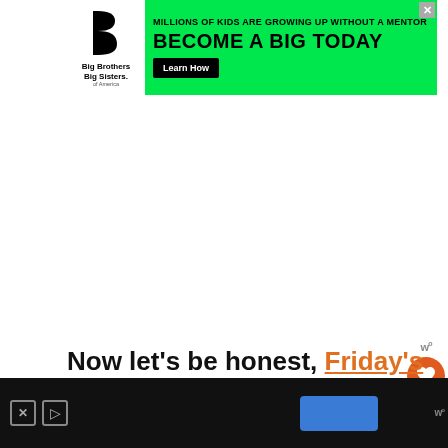[Figure (infographic): Big Brothers Big Sisters of America advertisement banner. Green background with white logo on left, bold text: 'MILLIONS OF KIDS ARE GROWING UP WITHOUT A MENTOR' and 'BECOME A BIG TODAY' with a black 'Learn How' button. Close X button in top right corner.]
Now let's be honest, Friday's Frozen Appetizers Are Amazing. They are even
[Figure (infographic): Bottom advertisement bar on dark background with ad icons (X and arrow) and a blue button. Also shows a Womanista logo in bottom right.]